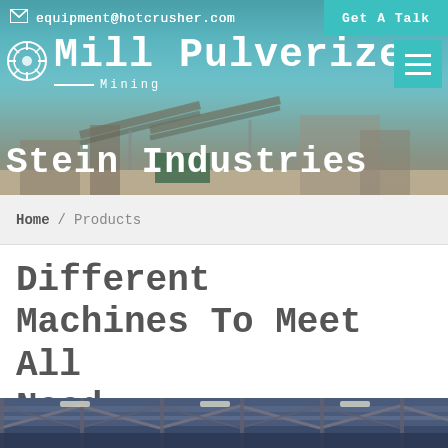equipment@hotcrusher.com  |  Get A Talk
[Figure (photo): Industrial mining facility with conveyor belts and processing equipment under a blue sky. Site title overlay: Mill Pulverizer - Mining, Stein Industries]
Home / Products
Different Machines To Meet All Need
[Figure (photo): Interior of an industrial warehouse/facility with steel roof trusses and blue ceiling panels, strip lighting visible]